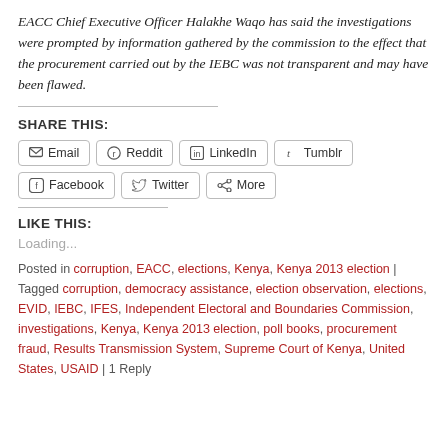EACC Chief Executive Officer Halakhe Waqo has said the investigations were prompted by information gathered by the commission to the effect that the procurement carried out by the IEBC was not transparent and may have been flawed.
SHARE THIS:
Email | Reddit | LinkedIn | Tumblr | Facebook | Twitter | More
LIKE THIS:
Loading...
Posted in corruption, EACC, elections, Kenya, Kenya 2013 election | Tagged corruption, democracy assistance, election observation, elections, EVID, IEBC, IFES, Independent Electoral and Boundaries Commission, investigations, Kenya, Kenya 2013 election, poll books, procurement fraud, Results Transmission System, Supreme Court of Kenya, United States, USAID | 1 Reply